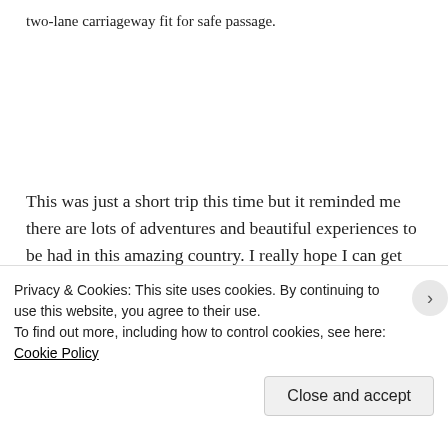two-lane carriageway fit for safe passage.
This was just a short trip this time but it reminded me there are lots of adventures and beautiful experiences to be had in this amazing country. I really hope I can get back to Italy for a bigger two-wheeled ride later this year. Once my nerves have recovered from that crazy coastal road, that is. 😐
Privacy & Cookies: This site uses cookies. By continuing to use this website, you agree to their use.
To find out more, including how to control cookies, see here: Cookie Policy
Close and accept